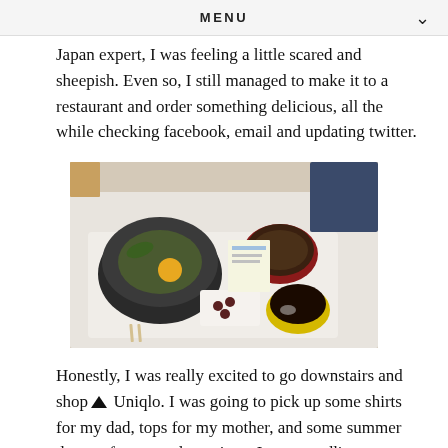MENU
Japan expert, I was feeling a little scared and sheepish. Even so, I still managed to make it to a restaurant and order something delicious, all the while checking facebook, email and updating twitter.
[Figure (photo): A Japanese meal on a white tray: a dark bowl with rice, egg yolk and garnish, a red lacquer bowl with miso soup, a small white dish with beans, and a yellow cup with dark sauce.]
Honestly, I was really excited to go downstairs and shop at Uniqlo. I was going to pick up some shirts for my dad, tops for my mother, and some summer dresses for me and my sister. I was trundling my luggage down the escalator and